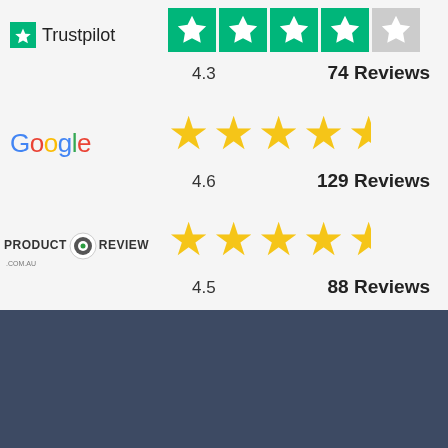[Figure (infographic): Trustpilot logo with green star icon and wordmark, followed by 4.5 green star rating tiles (4 full, 1 partial), showing rating 4.3 and 74 Reviews]
[Figure (infographic): Google logo in multicolor letters, followed by 4.5 yellow stars (4 full, 1 half), showing rating 4.6 and 129 Reviews]
[Figure (infographic): ProductReview.com.au logo with icon, followed by 4.5 yellow stars (4 full, 1 half), showing rating 4.5 and 88 Reviews]
[Figure (logo): Price My Car logo in white on dark blue background]
About
Contact
Media
Terms & Conditions